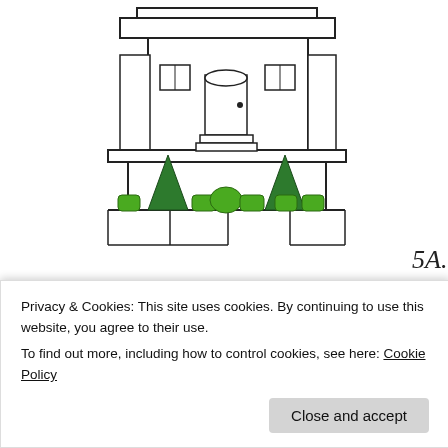[Figure (illustration): Hand-drawn sketch of a house (5A) with triangular evergreen trees and rounded bushes in front, labeled '5 A.' at bottom right]
[Figure (illustration): Hand-drawn sketch of a house (5B) with flowering round trees on sides and triangular evergreen trees with rectangular shrubs in front, labeled '5 B.' at bottom right]
Privacy & Cookies: This site uses cookies. By continuing to use this website, you agree to their use.
To find out more, including how to control cookies, see here: Cookie Policy
Close and accept